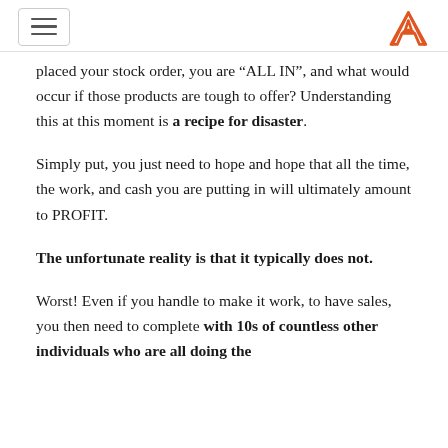[hamburger menu icon] [logo: A]
placed your stock order, you are “ALL IN”, and what would occur if those products are tough to offer? Understanding this at this moment is a recipe for disaster.
Simply put, you just need to hope and hope that all the time, the work, and cash you are putting in will ultimately amount to PROFIT.
The unfortunate reality is that it typically does not.
Worst! Even if you handle to make it work, to have sales, you then need to complete with 10s of countless other individuals who are all doing the